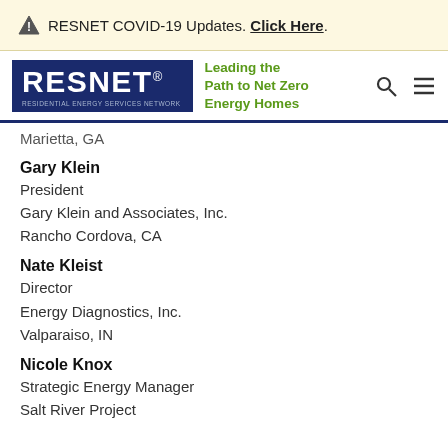⚠ RESNET COVID-19 Updates. Click Here.
[Figure (logo): RESNET logo with tagline 'Leading the Path to Net Zero Energy Homes' and navigation icons]
Marietta, GA
Gary Klein
President
Gary Klein and Associates, Inc.
Rancho Cordova, CA
Nate Kleist
Director
Energy Diagnostics, Inc.
Valparaiso, IN
Nicole Knox
Strategic Energy Manager
Salt River Project